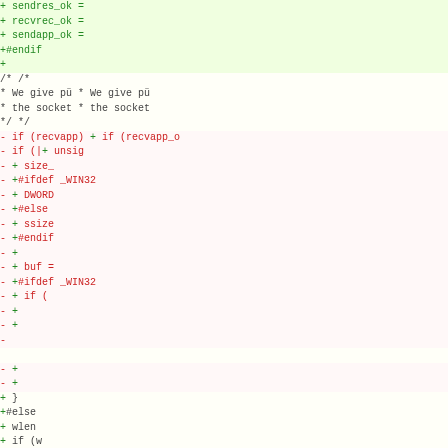[Figure (other): Diff view of source code showing removed lines (red, left) and added lines (green, right). The code appears to be a C/network socket application showing conditional compilation with #ifdef _WIN32 blocks and buffer/receive logic.]